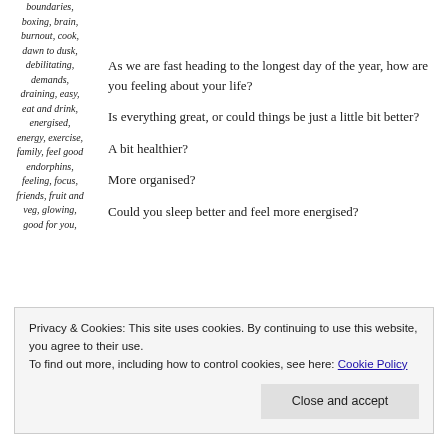boundaries, boxing, brain, burnout, cook, dawn to dusk, debilitating, demands, draining, easy, eat and drink, energised, energy, exercise, family, feel good endorphins, feeling, focus, friends, fruit and veg, glowing, good for you, hormones,
As we are fast heading to the longest day of the year, how are you feeling about your life?
Is everything great, or could things be just a little bit better?
A bit healthier?
More organised?
Could you sleep better and feel more energised?
Privacy & Cookies: This site uses cookies. By continuing to use this website, you agree to their use. To find out more, including how to control cookies, see here: Cookie Policy
Close and accept